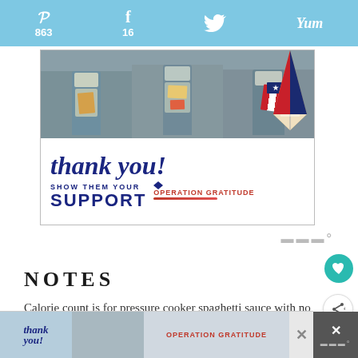Pinterest 863 | Facebook 16 | Twitter | Yummly
[Figure (photo): Three nurses in scrubs and masks holding thank-you cards, with 'thank you! SHOW THEM YOUR SUPPORT OPERATION GRATITUDE' text and a patriotic pencil graphic]
NOTES
Calorie count is for pressure cooker spaghetti sauce with no meat.
[Figure (photo): Advertisement banner showing thank you and Operation Gratitude images with a close/X button]